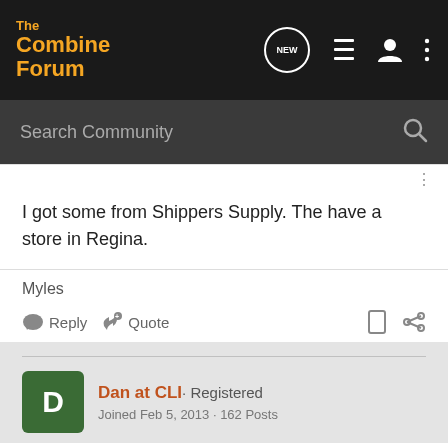[Figure (screenshot): TheCombineForum website top navigation bar with logo, NEW chat bubble icon, list icon, user icon, and three-dot menu icon]
[Figure (screenshot): Dark search bar with 'Search Community' placeholder text and magnifying glass icon]
I got some from Shippers Supply. The have a store in Regina.
Myles
Reply   Quote
Dan at CLI · Registered
Joined Feb 5, 2013 · 162 Posts